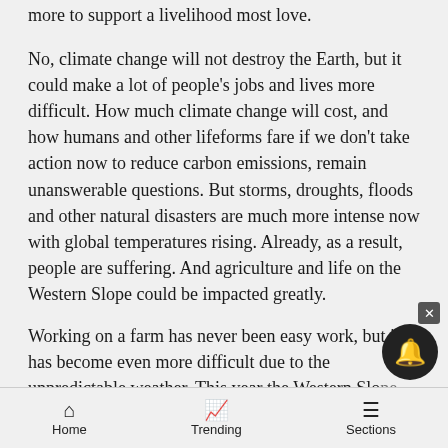more to support a livelihood most love.
No, climate change will not destroy the Earth, but it could make a lot of people's jobs and lives more difficult. How much climate change will cost, and how humans and other lifeforms fare if we don't take action now to reduce carbon emissions, remain unanswerable questions. But storms, droughts, floods and other natural disasters are much more intense now with global temperatures rising. Already, as a result, people are suffering. And agriculture and life on the Western Slope could be impacted greatly.
Working on a farm has never been easy work, but it has become even more difficult due to the unpredictable weather. This year the Western Slope had an unseasonably warm winter followed by an abruptly cold, frost-stricken spring. That extreme
Home  Trending  Sections